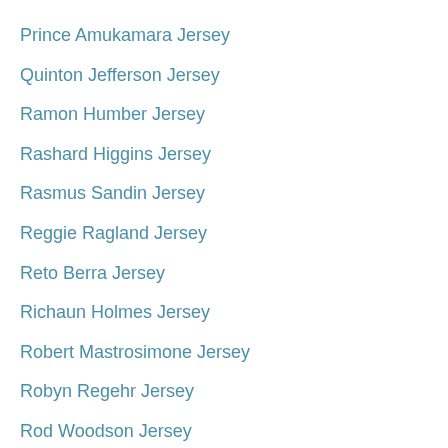Prince Amukamara Jersey
Quinton Jefferson Jersey
Ramon Humber Jersey
Rashard Higgins Jersey
Rasmus Sandin Jersey
Reggie Ragland Jersey
Reto Berra Jersey
Richaun Holmes Jersey
Robert Mastrosimone Jersey
Robyn Regehr Jersey
Rod Woodson Jersey
Rodney McGruder Jersey
Rourke Chartier Jersey
Rusney Castillo Jersey
Ryan Griffin Jersey